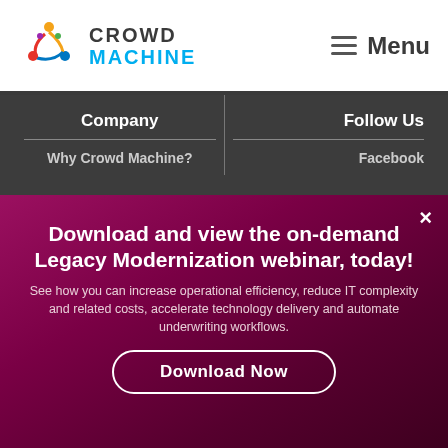[Figure (logo): Crowd Machine logo with colorful circular icon and two-line text: CROWD in dark, MACHINE in cyan]
Menu
Company
Follow Us
Why Crowd Machine?
Facebook
Download and view the on-demand Legacy Modernization webinar, today!
See how you can increase operational efficiency, reduce IT complexity and related costs, accelerate technology delivery and automate underwriting workflows.
Download Now